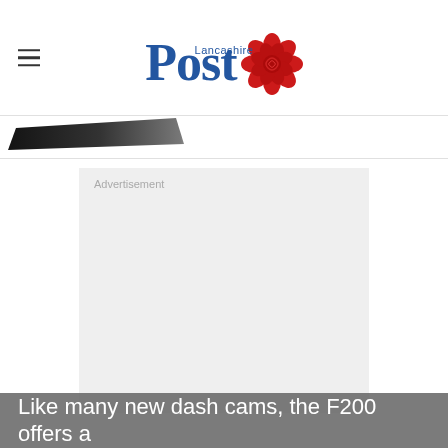Lancashire Post
[Figure (other): Partial image of a dark object, partially cropped at the top left area below the header]
[Figure (other): Advertisement placeholder box with light gray background and 'Advertisement' label in top left corner]
Like many new dash cams, the F200 offers a